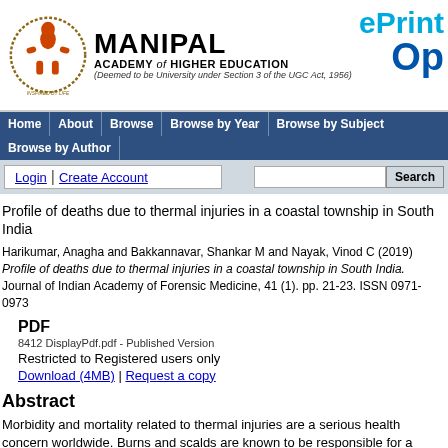[Figure (logo): Manipal Academy of Higher Education logo with circular emblem and institution name]
ePrint
Op
Home | About | Browse | Browse by Year | Browse by Subject | Browse by Author
Login | Create Account
Profile of deaths due to thermal injuries in a coastal township in South India
Harikumar, Anagha and Bakkannavar, Shankar M and Nayak, Vinod C (2019) Profile of deaths due to thermal injuries in a coastal township in South India. Journal of Indian Academy of Forensic Medicine, 41 (1). pp. 21-23. ISSN 0971-0973
PDF
8412 DisplayPdf.pdf - Published Version
Restricted to Registered users only
Download (4MB) | Request a copy
Abstract
Morbidity and mortality related to thermal injuries are a serious health concern worldwide. Burns and scalds are known to be responsible for a significant